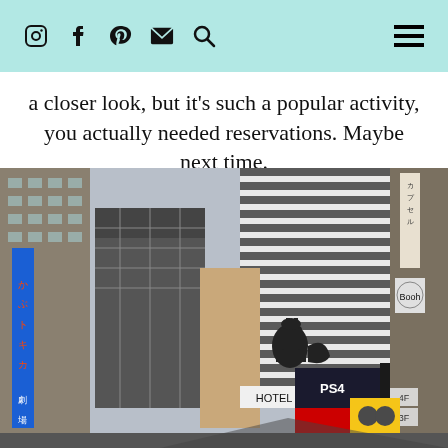Social media icons: Instagram, Facebook, Pinterest, Email, Search; Hamburger menu
a closer look, but it’s such a popular activity, you actually needed reservations. Maybe next time.
[Figure (photo): Street-level view of a busy Tokyo district (likely Shinjuku) showing tall buildings with Japanese signage, a large black-and-white striped skyscraper, a blue vertical sign with Japanese text, advertisements including PS4 and Godzilla on a building rooftop between buildings, a sign for Hotel Grace, and storefront signs. The sky is overcast grey.]